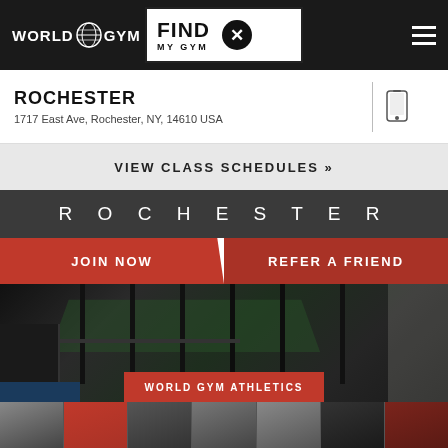WORLD GYM | FIND MY GYM
ROCHESTER
1717 East Ave, Rochester, NY, 14610 USA
VIEW CLASS SCHEDULES »
R O C H E S T E R
JOIN NOW
REFER A FRIEND
[Figure (photo): Interior of World Gym Rochester showing weight racks, turf area, and gym equipment]
WORLD GYM ATHLETICS
[Figure (photo): Row of thumbnail images of the gym facility]